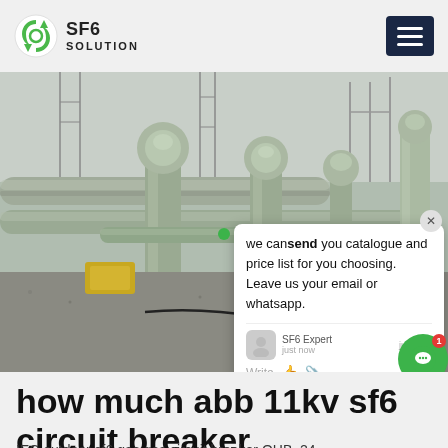SF6 SOLUTION
[Figure (photo): Outdoor SF6 gas circuit breaker installation at a high-voltage substation, showing large grey cylindrical SF6 breaker units with interconnecting pipe structures and gantry towers in background. A chat popup overlay reads: 'we can send you catalogue and price list for you choosing. Leave us your email or whatsapp.' with SF6 Expert just now, Write input field.]
how much abb 11kv sf6 circuit breaker
IEC outdoor sf6 gas gas circuit breaker OHB. 24